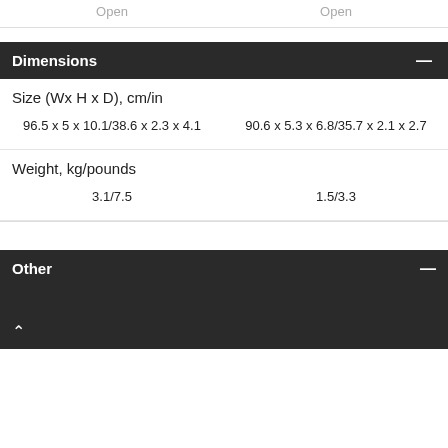| Open | Open |
| --- | --- |
| 96.5 x 5 x 10.1/38.6 x 2.3 x 4.1 | 90.6 x 5.3 x 6.8/35.7 x 2.1 x 2.7 |
| 3.1/7.5 | 1.5/3.3 |
Dimensions
Other